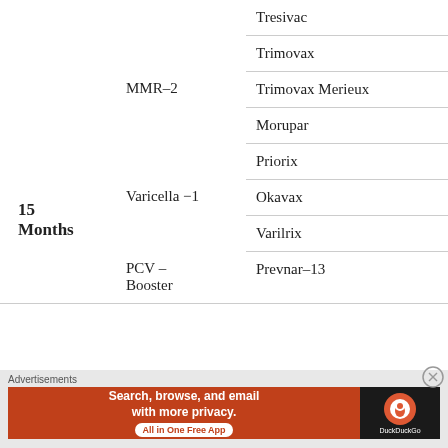| Age | Vaccine | Brand |
| --- | --- | --- |
|  |  | Tresivac |
|  |  | Trimovax |
|  | MMR-2 | Trimovax Merieux |
| 15 Months |  | Morupar |
|  |  | Priorix |
|  | Varicella -1 | Okavax |
|  |  | Varilrix |
|  | PCV – Booster | Prevnar-13 |